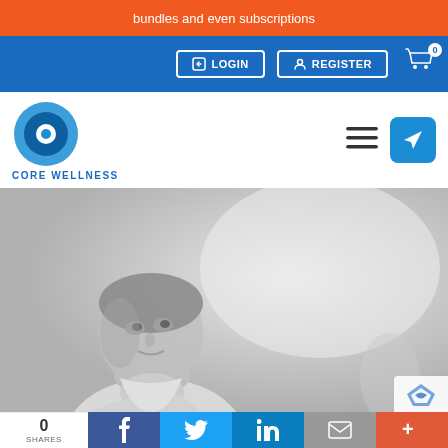bundles and even subscriptions
[Figure (screenshot): Website navigation bar with LOGIN and REGISTER buttons on blue background, and cart icon with badge showing 0]
[Figure (logo): Core Wellness circular logo in blue tones with text CORE WELLNESS below]
[Figure (photo): Black and white photo of a young boy resting his chin on his hand, looking upward thoughtfully]
0 SHARES
[Figure (infographic): Social share bar with Facebook, Twitter, LinkedIn, email, and more buttons]